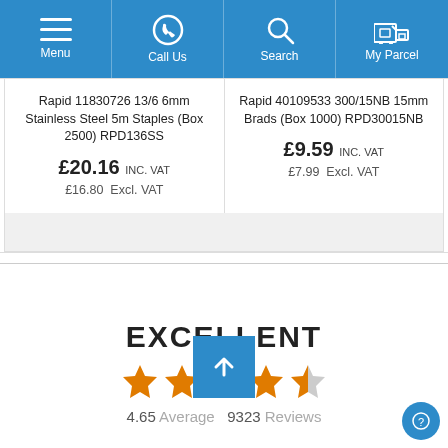Menu | Call Us | Search | My Parcel
Rapid 11830726 13/6 6mm Stainless Steel 5m Staples (Box 2500) RPD136SS
£20.16 INC. VAT
£16.80 Excl. VAT
Rapid 40109533 300/15NB 15mm Brads (Box 1000) RPD30015NB
£9.59 INC. VAT
£7.99 Excl. VAT
EXCELLENT
4.65 Average  9323 Reviews